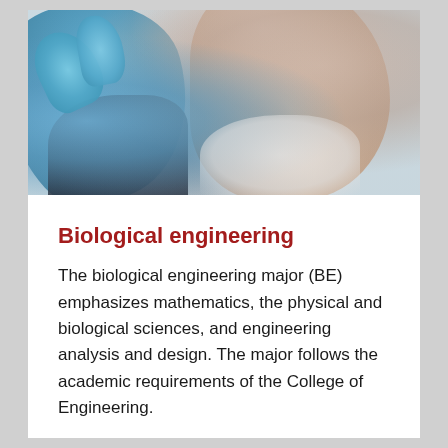[Figure (photo): A person wearing blue laboratory gloves holding something up, with the lower portion of their face visible in the background. The image is blurred/bokeh effect with a light background.]
Biological engineering
The biological engineering major (BE) emphasizes mathematics, the physical and biological sciences, and engineering analysis and design. The major follows the academic requirements of the College of Engineering.